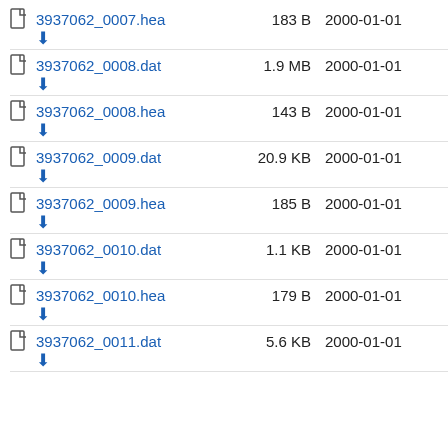3937062_0007.hea  183 B  2000-01-01
3937062_0008.dat  1.9 MB  2000-01-01
3937062_0008.hea  143 B  2000-01-01
3937062_0009.dat  20.9 KB  2000-01-01
3937062_0009.hea  185 B  2000-01-01
3937062_0010.dat  1.1 KB  2000-01-01
3937062_0010.hea  179 B  2000-01-01
3937062_0011.dat  5.6 KB  2000-01-01